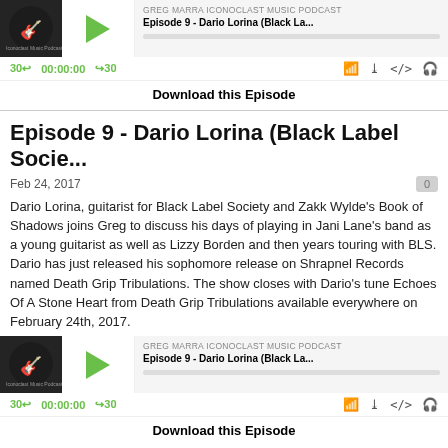[Figure (screenshot): Podcast player widget at top showing album art, play button, podcast title, progress bar, and controls (30 back, 00:00:00, 30 forward, RSS, download, embed, headphones icons)]
Download this Episode
Episode 9 - Dario Lorina (Black Label Socie...
Feb 24, 2017
Dario Lorina, guitarist for Black Label Society and Zakk Wylde's Book of Shadows joins Greg to discuss his days of playing in Jani Lane's band as a young guitarist as well as Lizzy Borden and then years touring with BLS. Dario has just released his sophomore release on Shrapnel Records named Death Grip Tribulations. The show closes with Dario's tune Echoes Of A Stone Heart from Death Grip Tribulations available everywhere on February 24th, 2017.
[Figure (screenshot): Second podcast player widget showing same album art, play button, Greg Marra Iconoclast Music Podcast label, Episode 9 - Dario Lorina (Black La... title, progress bar, and controls]
Download this Episode